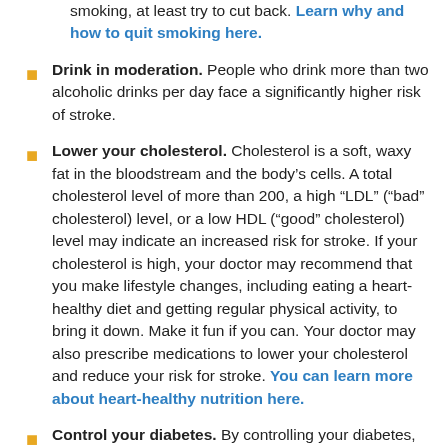smoking, at least try to cut back. Learn why and how to quit smoking here.
Drink in moderation. People who drink more than two alcoholic drinks per day face a significantly higher risk of stroke.
Lower your cholesterol. Cholesterol is a soft, waxy fat in the bloodstream and the body's cells. A total cholesterol level of more than 200, a high “LDL” (“bad” cholesterol) level, or a low HDL (“good” cholesterol) level may indicate an increased risk for stroke. If your cholesterol is high, your doctor may recommend that you make lifestyle changes, including eating a heart-healthy diet and getting regular physical activity, to bring it down. Make it fun if you can. Your doctor may also prescribe medications to lower your cholesterol and reduce your risk for stroke. You can learn more about heart-healthy nutrition here.
Control your diabetes. By controlling your diabetes, you may reduce your risk of stroke. Successfully managing diabetes requires following